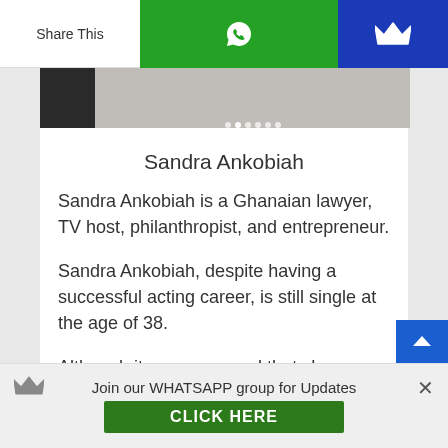Share This
[Figure (photo): Partial photo strip showing a dark section on the left and lighter image area with navigation dots]
Sandra Ankobiah
Sandra Ankobiah is a Ghanaian lawyer, TV host, philanthropist, and entrepreneur.
Sandra Ankobiah, despite having a successful acting career, is still single at the age of 38.
Although it was rumoured that she was dating Paedae of the R2Bees, the lawyer has yet to settle down.
Join our WHATSAPP group for Updates CLICK HERE